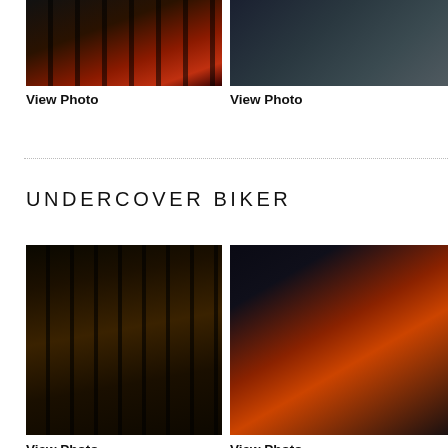[Figure (photo): Prison/jail scene with bars and red background, person visible]
[Figure (photo): Outdoor street scene, person with bicycle visible]
View Photo
View Photo
UNDERCOVER BIKER
[Figure (photo): Man behind jail bars, dark prison scene with orange-clad prisoners]
[Figure (photo): Man in orange jumpsuit using phone in prison]
View Photo
View Photo